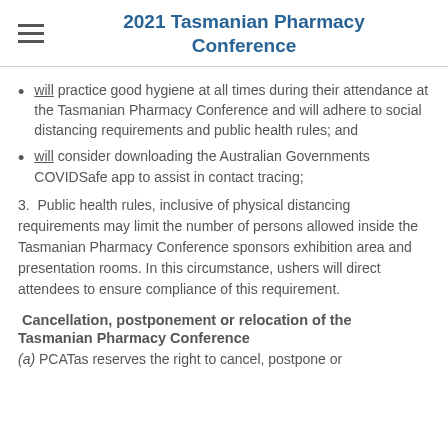2021 Tasmanian Pharmacy Conference
will practice good hygiene at all times during their attendance at the Tasmanian Pharmacy Conference and will adhere to social distancing requirements and public health rules; and
will consider downloading the Australian Governments COVIDSafe app to assist in contact tracing;
3.  Public health rules, inclusive of physical distancing requirements may limit the number of persons allowed inside the Tasmanian Pharmacy Conference sponsors exhibition area and presentation rooms. In this circumstance, ushers will direct attendees to ensure compliance of this requirement.
Cancellation, postponement or relocation of the Tasmanian Pharmacy Conference
(a) PCATas reserves the right to cancel, postpone or